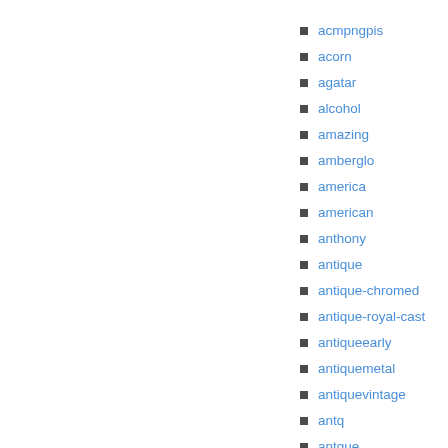acmpngpis
acorn
agatar
alcohol
amazing
amberglo
america
american
anthony
antique
antique-chromed
antique-royal-cast
antiqueearly
antiquemetal
antiquevintage
antq
antque